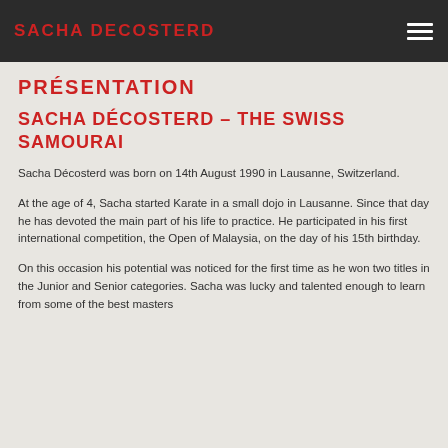SACHA DECOSTERD
PRÉSENTATION
SACHA DÉCOSTERD – THE SWISS SAMOURAI
Sacha Décosterd was born on 14th August 1990 in Lausanne, Switzerland.
At the age of 4, Sacha started Karate in a small dojo in Lausanne. Since that day he has devoted the main part of his life to practice. He participated in his first international competition, the Open of Malaysia, on the day of his 15th birthday.
On this occasion his potential was noticed for the first time as he won two titles in the Junior and Senior categories. Sacha was lucky and talented enough to learn from some of the best masters